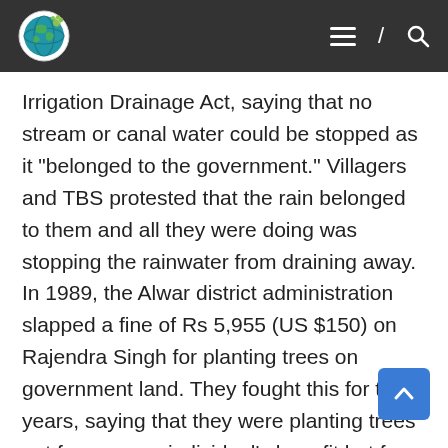[Logo] [hamburger menu] / [search]
Irrigation Drainage Act, saying that no stream or canal water could be stopped as it “belonged to the government.” Villagers and TBS protested that the rain belonged to them and all they were doing was stopping the rainwater from draining away. In 1989, the Alwar district administration slapped a fine of Rs 5,955 (US $150) on Rajendra Singh for planting trees on government land. They fought this for two years, saying that they were planting trees not for any one individual’s benefit but for the common good. In the late 1980s, Rajendra Singh said about legal 377 cases